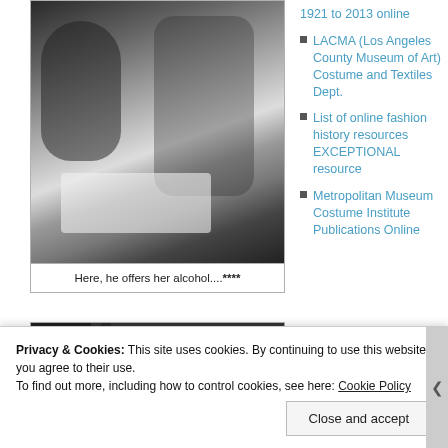[Figure (photo): Black and white photograph of a man and woman sitting at a dining table. The woman is on the left wearing a hat and dark clothing; the man on the right is in a suit raising a glass toward the woman. A lamp and picture frame are visible in the background.]
Here, he offers her alcohol....**
[Figure (photo): Partial black and white photograph, cropped, showing architectural or interior elements.]
1921 to 2013 online
LACMA (Los Angeles County Museum of Art) Costume and Textiles Dept.
List of online fashion history resources EXCEPTIONAL resource
Metropolitan Museum Costume Institute Publications Online
Privacy & Cookies: This site uses cookies. By continuing to use this website, you agree to their use.
To find out more, including how to control cookies, see here: Cookie Policy
Close and accept